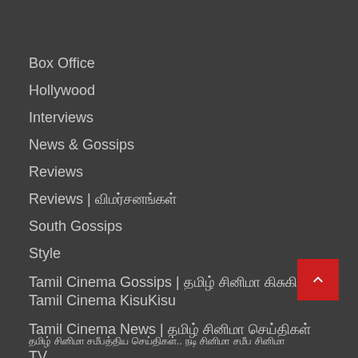Box Office
Hollywood
Interviews
News & Gossips
Reviews
Reviews | விமர்சனங்கள்
South Gossips
Style
Tamil Cinema Gossips | தமிழ் சினிமா | Tamil Cinema KisuKisu
Tamil Cinema News | தமிழ் சினிமா
TV
Video
Web Series
தமிழ் சினிமா சமீபத்திய செய்திகள்.. நடி சினிமா சமீப சினிமா